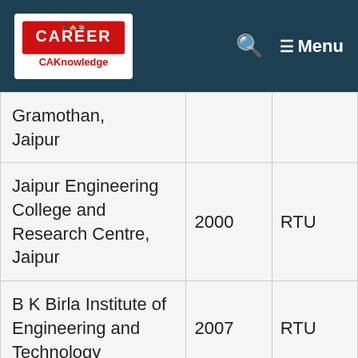CAKnowledge — Menu
| Institution | Year | University |
| --- | --- | --- |
| Gramothan, Jaipur |  |  |
| Jaipur Engineering College and Research Centre, Jaipur | 2000 | RTU |
| B K Birla Institute of Engineering and Technology | 2007 | RTU |